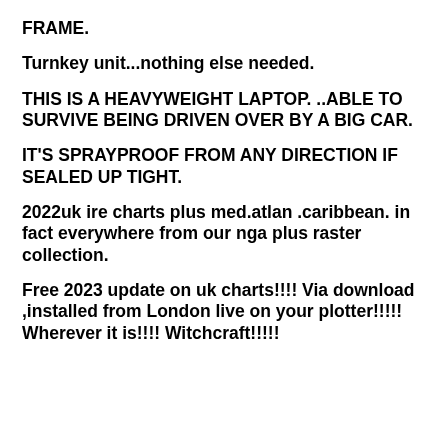FRAME.
Turnkey unit...nothing else needed.
THIS IS A HEAVYWEIGHT LAPTOP. ..ABLE TO SURVIVE BEING DRIVEN OVER BY A BIG CAR.
IT'S SPRAYPROOF FROM ANY DIRECTION IF SEALED UP TIGHT.
2022uk ire charts plus med.atlan .caribbean. in fact everywhere from our nga plus raster collection.
Free 2023 update on uk charts!!!! Via download ,installed from London live on your plotter!!!!! Wherever it is!!!! Witchcraft!!!!!